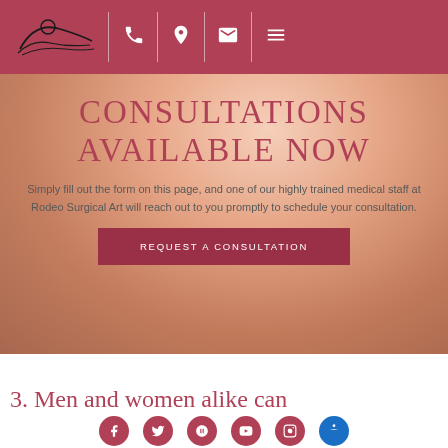Rodeo Surgical Art - navigation header with logo, phone, location, email, menu icons
CONSULTATIONS AVAILABLE NOW
Simply fill out the form on this page, and one of our highly trained medical staff at Rodeo Surgical Art will reach out to you promptly to schedule your consultation.
REQUEST A CONSULTATION
3. Men and women alike can
Social media icons: Facebook, Twitter, Yelp, YouTube, Instagram; Accessibility button